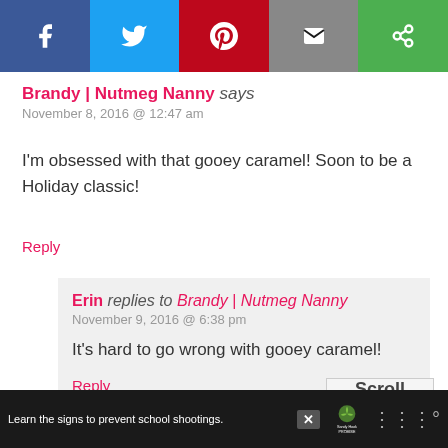[Figure (infographic): Social share bar with Facebook, Twitter, Pinterest, Email, and one more button]
Brandy | Nutmeg Nanny says
November 8, 2016 @ 12:47 am
I'm obsessed with that gooey caramel! Soon to be a Holiday classic!
Reply
Erin replies to Brandy | Nutmeg Nanny
November 9, 2016 @ 6:38 pm
It's hard to go wrong with gooey caramel!
Reply
Scroll to top
Learn the signs to prevent school shootings.